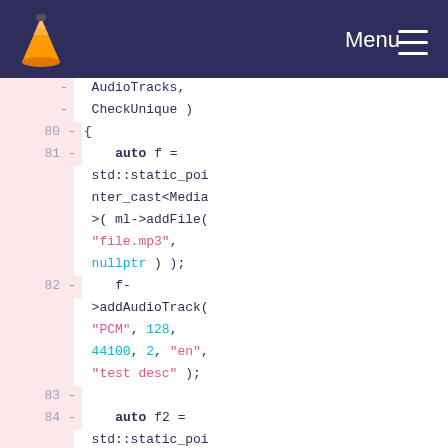[Figure (screenshot): VLC media player navigation bar with orange cone logo and Menu hamburger button on dark navy background]
Code diff view showing lines 80-84 of C++ source code with AudioTracks, CheckUnique function, auto f = std::static_pointer_cast<Media>(ml->addFile("file.mp3", nullptr)); f->addAudioTrack("PCM", 128, 44100, 2, "en", "test desc"); auto f2 = std::static_pointer_cast<Media>(ml->addFile("file2.mp3"...)